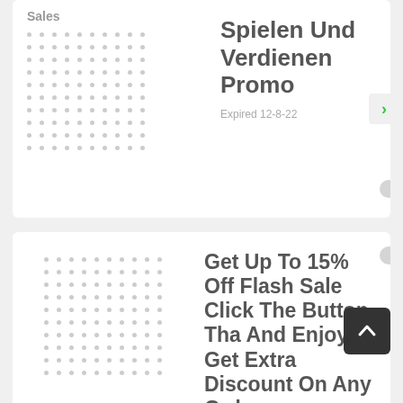Sales
Spielen Und Verdienen Promo
Expired 12-8-22
15% Off
Get Up To 15% Off Flash Sale Click The Button Tha And Enjoy Get Extra Discount On Any Order
Expired 19-8-21
Save Up To 95% On